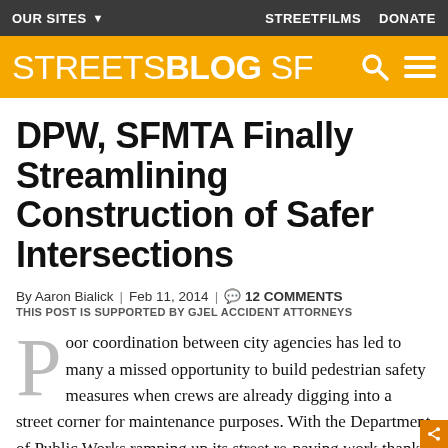OUR SITES  STREETFILMS  DONATE
STREETSBLOG SF
DPW, SFMTA Finally Streamlining Construction of Safer Intersections
By Aaron Bialick | Feb 11, 2014 | 12 COMMENTS
THIS POST IS SUPPORTED BY GJEL ACCIDENT ATTORNEYS
Poor coordination between city agencies has led to many a missed opportunity to build pedestrian safety measures when crews are already digging into a street corner for maintenance purposes. With the Department of Public Works ramping up its street re-paving work thanks to the